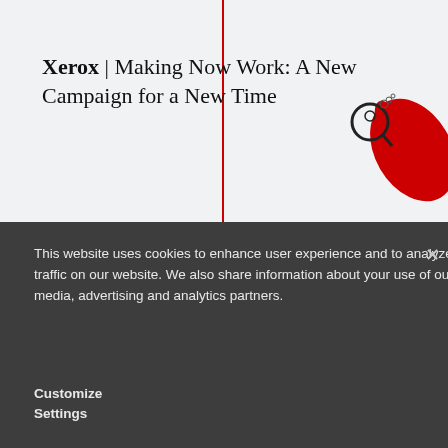Xerox | Making Now Work: A New Campaign for a New Time
[Figure (illustration): Illustration of a red hand holding a magnifying glass with a stick figure character, part of Xerox Making Now Work campaign artwork]
This website uses cookies to enhance user experience and to analyze performance and traffic on our website. We also share information about your use of our site with our social media, advertising and analytics partners.
Customize Settings
[Figure (illustration): Illustration showing various work tools and devices including a smartphone, pencils, and decorative elements with 'Work' text, part of Xerox campaign artwork]